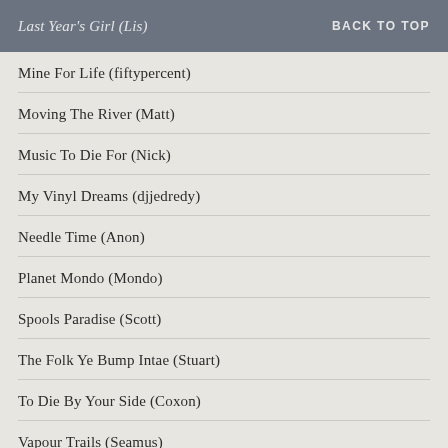Last Year's Girl (Lis)   BACK TO TOP
Mine For Life (fiftypercent)
Moving The River (Matt)
Music To Die For (Nick)
My Vinyl Dreams (djjedredy)
Needle Time (Anon)
Planet Mondo (Mondo)
Spools Paradise (Scott)
The Folk Ye Bump Intae (Stuart)
To Die By Your Side (Coxon)
Vapour Trails (Seamus)
Vivonzeureux! (Pol Dodu)
What's It All About (Alyson)